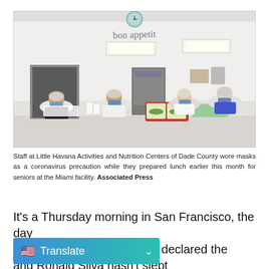[Figure (photo): Interior of a cafeteria-style kitchen. Four staff members wearing hair nets and blue face masks stand behind a long white counter. A teal clock hangs on the white wall above them. The text 'bon appetit' is written in cursive script on the wall. Fluorescent lights illuminate the space. Food trays with greens are visible on the counter. Background shows kitchen equipment including what appears to be a refrigerator.]
Staff at Little Havana Activities and Nutrition Centers of Dade County wore masks as a coronavirus precaution while they prepared lunch earlier this month for seniors at the Miami facility. Associated Press
It's a Thursday morning in San Francisco, the day [organization] declared the and Ronald Silva hasn't slept